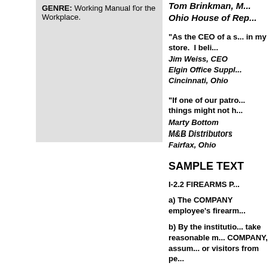GENRE: Working Manual for the Workplace.
Tom Brinkman, M... Ohio House of Rep...
"As the CEO of a s... in my store. I beli...
Jim Weiss, CEO Elgin Office Suppl... Cincinnati, Ohio
"If one of our patro... things might not h...
Marty Bottom M&B Distributors Fairfax, Ohio
SAMPLE TEXT
I-2.2 FIREARMS P...
a) The COMPANY employee's firearm...
b) By the institutio... take reasonable m... COMPANY, assum... or visitors from pe...